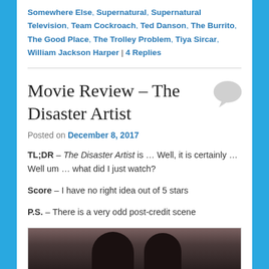Somewhere Else, Supernatural, Supernatural Television, Team Cockroach, Ted Danson, The Burrito, The Good Place, The Trolley Problem, Tiya Sircar, William Jackson Harper | 4 Replies
Movie Review – The Disaster Artist
Posted on December 8, 2017
TL;DR – The Disaster Artist is … Well, it is certainly … Well um … what did I just watch?
Score – I have no right idea out of 5 stars
P.S. – There is a very odd post-credit scene
[Figure (photo): Photo showing two people with dark hair, partially visible at bottom of frame]